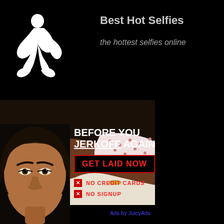[Figure (logo): White silhouette of a kneeling figure on black background]
Best Hot Selfies
the hottest selfies online
[Figure (photo): Close-up photo of a person's torso in a polka-dot bikini top lying on bedding]
Ads by JuicyAds
[Figure (photo): Close-up photo of a young woman's face]
BEFORE YOU JERKOFF AGAIN
GET LAID NOW
NO CREDIT CARDS
NO SIGNUP